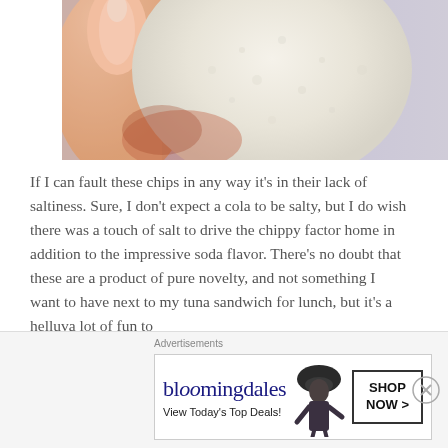[Figure (photo): Close-up photograph of a hand holding a white, round chip against a purple-gray background]
If I can fault these chips in any way it's in their lack of saltiness. Sure, I don't expect a cola to be salty, but I do wish there was a touch of salt to drive the chippy factor home in addition to the impressive soda flavor. There's no doubt that these are a product of pure novelty, and not something I want to have next to my tuna sandwich for lunch, but it's a helluva lot of fun to
[Figure (advertisement): Bloomingdale's advertisement: 'View Today's Top Deals!' with a woman in a hat and 'SHOP NOW >' button]